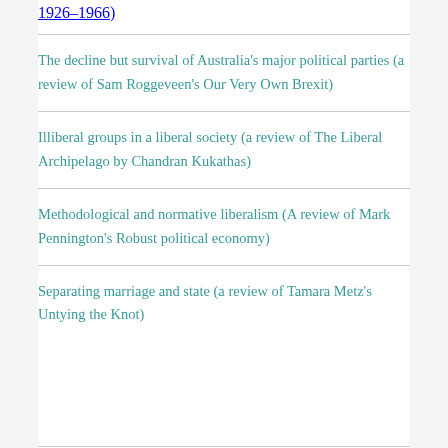1926–1966)
The decline but survival of Australia's major political parties (a review of Sam Roggeveen's Our Very Own Brexit)
Illiberal groups in a liberal society (a review of The Liberal Archipelago by Chandran Kukathas)
Methodological and normative liberalism (A review of Mark Pennington's Robust political economy)
Separating marriage and state (a review of Tamara Metz's Untying the Knot)